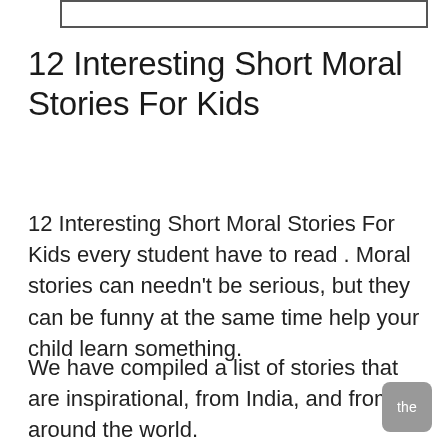12 Interesting Short Moral Stories For Kids
12 Interesting Short Moral Stories For Kids every student have to read . Moral stories can needn't be serious, but they can be funny at the same time help your child learn something.
We have compiled a list of stories that are inspirational, from India, and from around the world.